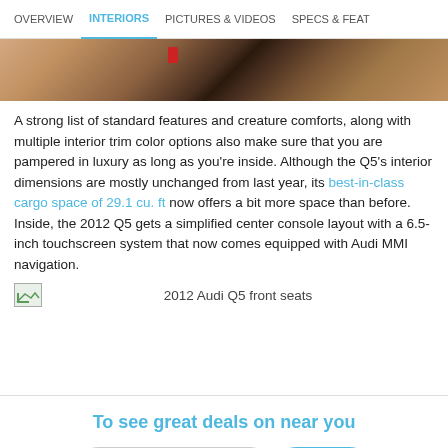OVERVIEW | INTERIORS | PICTURES & VIDEOS | SPECS & FEAT
[Figure (photo): Top portion of Audi Q5 interior photo showing leather seats and cabin details in brown/tan tones with a red element visible]
A strong list of standard features and creature comforts, along with multiple interior trim color options also make sure that you are pampered in luxury as long as you're inside. Although the Q5's interior dimensions are mostly unchanged from last year, its best-in-class cargo space of 29.1 cu. ft now offers a bit more space than before. Inside, the 2012 Q5 gets a simplified center console layout with a 6.5-inch touchscreen system that now comes equipped with Audi MMI navigation.
2012 Audi Q5 front seats
To see great deals on near you